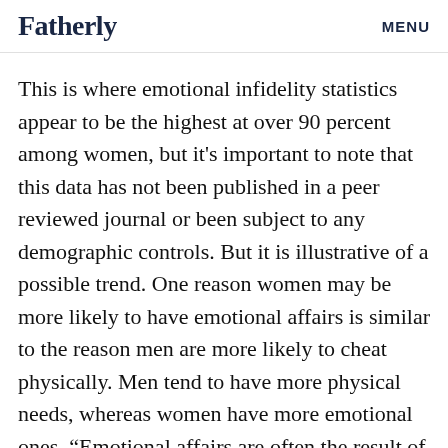Fatherly   MENU
This is where emotional infidelity statistics appear to be the highest at over 90 percent among women, but it's important to note that this data has not been published in a peer reviewed journal or been subject to any demographic controls. But it is illustrative of a possible trend. One reason women may be more likely to have emotional affairs is similar to the reason men are more likely to cheat physically. Men tend to have more physical needs, whereas women have more emotional ones. “Emotional affairs are often the result of people acting out in ways that allow them to endure and tolerate the painful feelings of being isolated in long-term love,” Borg